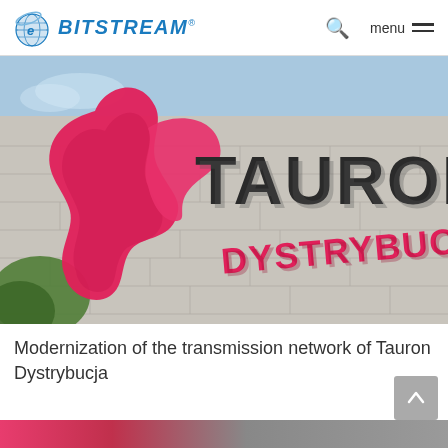BITSTREAM menu
[Figure (photo): Tauron Dystrybucja building sign on a stone wall — large pink/magenta stylized flame logo on left, dark charcoal 3D letters spelling TAURON DYSTRYBUCJA on right, blue sky and green tree visible in background]
Modernization of the transmission network of Tauron Dystrybucja